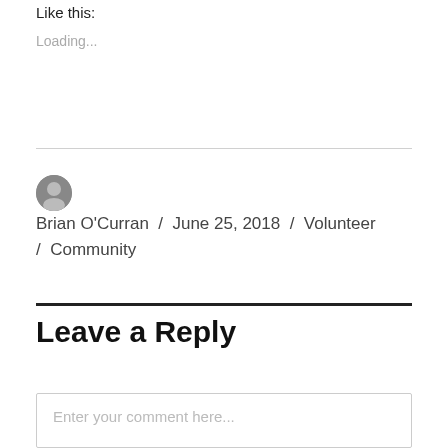Like this:
Loading...
Brian O'Curran / June 25, 2018 / Volunteer / Community
Leave a Reply
Enter your comment here...